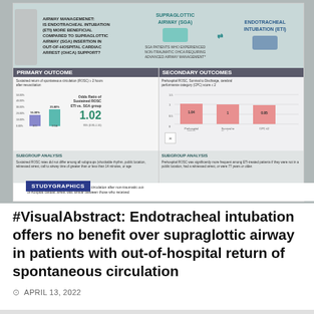[Figure (infographic): Visual abstract infographic comparing endotracheal intubation (ETI) vs supraglottic airway (SGA) in out-of-hospital cardiac arrest. Shows primary outcome (Sustained ROSC ≥2 hours after resuscitation) with bar chart: ETI 16.30%, SGA 25.80%, Odds Ratio 1.02 (95% CI 0.90–1.16). Secondary outcomes bar chart shows adjusted odds ratios for Prehospital ROSC (1.04), Survival to Discharge (1), and CPC ≤2 (0.95). Subgroup analyses shown for both. STUDYGRAPHICS label at bottom left.]
#VisualAbstract: Endotracheal intubation offers no benefit over supraglottic airway in patients with out-of-hospital return of spontaneous circulation
APRIL 13, 2022